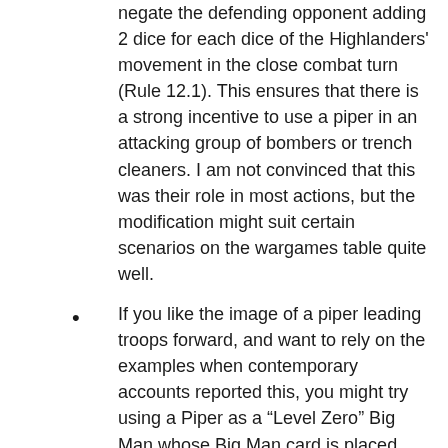combat. One way of doing this would be to negate the defending opponent adding 2 dice for each dice of the Highlanders' movement in the close combat turn (Rule 12.1). This ensures that there is a strong incentive to use a piper in an attacking group of bombers or trench cleaners. I am not convinced that this was their role in most actions, but the modification might suit certain scenarios on the wargames table quite well.
If you like the image of a piper leading troops forward, and want to rely on the examples when contemporary accounts reported this, you might try using a Piper as a “Level Zero” Big Man whose Big Man card is placed into the pack if all other Highland NCOs and Officers on the table are killed or wounded. The Piper can use any available Level 1 Command Initiative cards to lead troops forward on the draw of the Piper’s card (in addition to any other benefits a piper brings).